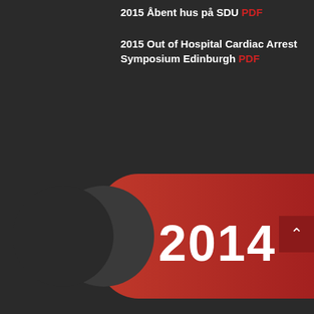2015 Åbent hus på SDU PDF
2015 Out of Hospital Cardiac Arrest Symposium Edinburgh PDF
2014